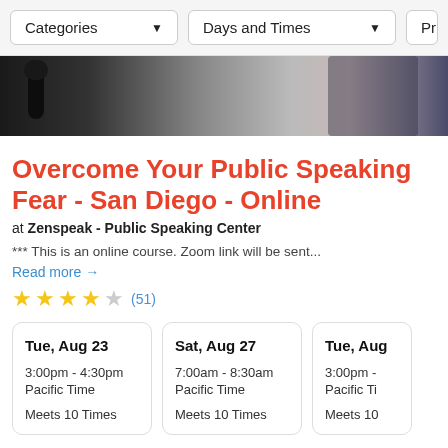Categories  Days and Times  Price
[Figure (photo): Close-up photo of a microphone and a person in the background, blurred]
Overcome Your Public Speaking Fear - San Diego - Online
at Zenspeak - Public Speaking Center
*** This is an online course. Zoom link will be sent...
Read more →
★★★★☆ (51)
| Date | Time | Meets |
| --- | --- | --- |
| Tue, Aug 23 | 3:00pm - 4:30pm Pacific Time | Meets 10 Times |
| Sat, Aug 27 | 7:00am - 8:30am Pacific Time | Meets 10 Times |
| Tue, Aug | 3:00pm - Pacific Ti | Meets 10 |